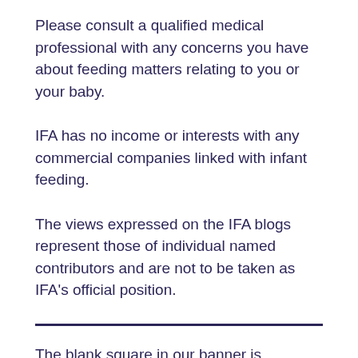Please consult a qualified medical professional with any concerns you have about feeding matters relating to you or your baby.
IFA has no income or interests with any commercial companies linked with infant feeding.
The views expressed on the IFA blogs represent those of individual named contributors and are not to be taken as IFA’s official position.
The blank square in our banner is dedicated to the members of Infant Feeding Alliance who have few pictures of themselves with their babies because of